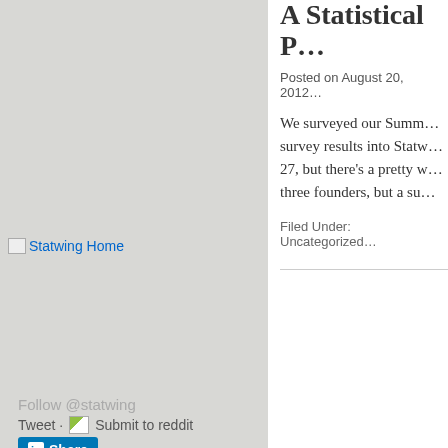[Figure (logo): Statwing Home link with broken image placeholder]
Follow @statwing
Tweet · Submit to reddit
[Figure (screenshot): Small image placeholder next to social links]
Share (LinkedIn button)
email@domain.com
Subscribe to blog
Appraisal Regression:
A Practical Guide
A Statistical P…
Posted on August 20, 2012
We surveyed our Summ… survey results into Statw… 27, but there's a pretty w… three founders, but a su…
Filed Under: Uncategorized…